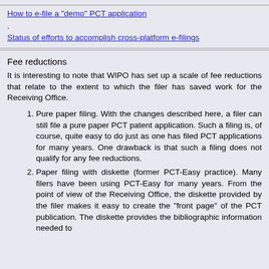How to e-file a "demo" PCT application.
Status of efforts to accomplish cross-platform e-filings
Fee reductions
It is interesting to note that WIPO has set up a scale of fee reductions that relate to the extent to which the filer has saved work for the Receiving Office.
Pure paper filing. With the changes described here, a filer can still file a pure paper PCT patent application. Such a filing is, of course, quite easy to do just as one has filed PCT applications for many years. One drawback is that such a filing does not qualify for any fee reductions.
Paper filing with diskette (former PCT-Easy practice). Many filers have been using PCT-Easy for many years. From the point of view of the Receiving Office, the diskette provided by the filer makes it easy to create the "front page" of the PCT publication. The diskette provides the bibliographic information needed to